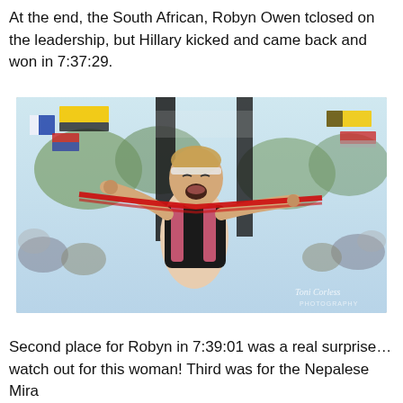At the end, the South African, Robyn Owen tclosed on the leadership, but Hillary kicked and came back and won in 7:37:29.
[Figure (photo): A female runner crossing a race finish line, arms raised holding the red tape, mouth open in celebration, wearing a black and pink race vest. Colorful flags and crowd visible in the background. Photo credit: Toni Corless Photography.]
Second place for Robyn in 7:39:01 was a real surprise… watch out for this woman! Third was for the Nepalese Mira